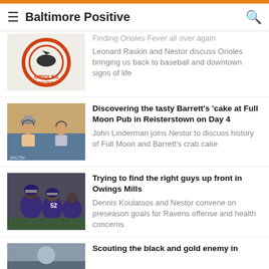Baltimore Positive
Finding Orioles Fever all over again — Leonard Raskin and Nestor discuss Orioles bringing us back to baseball and downtown signs of life
Discovering the tasty Barrett's 'cake at Full Moon Pub in Reisterstown on Day 4
John Linderman joins Nestor to discuss history of Full Moon and Barrett's crab cake
Trying to find the right guys up front in Owings Mills
Dennis Koulatsos and Nestor convene on preseason goals for Ravens offense and health concerns
Scouting the black and gold enemy in